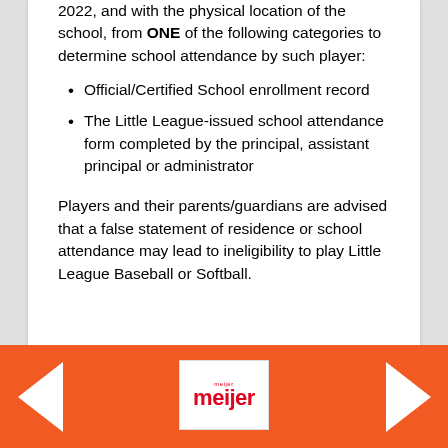2022, and with the physical location of the school, from ONE of the following categories to determine school attendance by such player:
Official/Certified School enrollment record
The Little League-issued school attendance form completed by the principal, assistant principal or administrator
Players and their parents/guardians are advised that a false statement of residence or school attendance may lead to ineligibility to play Little League Baseball or Softball.
[Figure (logo): Meijer logo on white background, in orange footer bar]